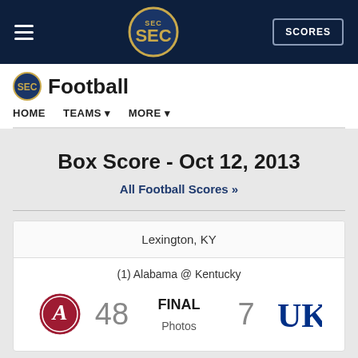SEC Football - SCORES
Football
Box Score - Oct 12, 2013
All Football Scores »
| Location | Matchup | Team1 | Score1 | Status | Score2 | Team2 |
| --- | --- | --- | --- | --- | --- | --- |
| Lexington, KY | (1) Alabama @ Kentucky | Alabama | 48 | FINAL | 7 | Kentucky |
Photos